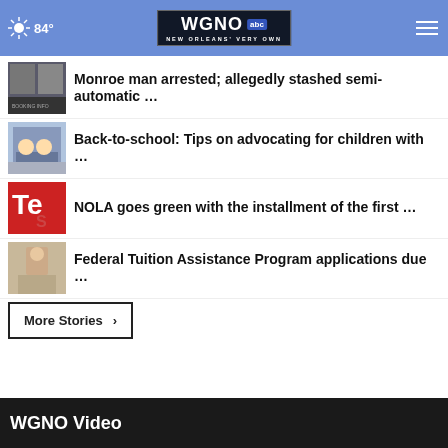84° WGNO ABC NEW ORLEANS' VERY OWN
Monroe man arrested; allegedly stashed semi-automatic …
Back-to-school: Tips on advocating for children with …
NOLA goes green with the installment of the first …
Federal Tuition Assistance Program applications due …
More Stories ›
WGNO Video